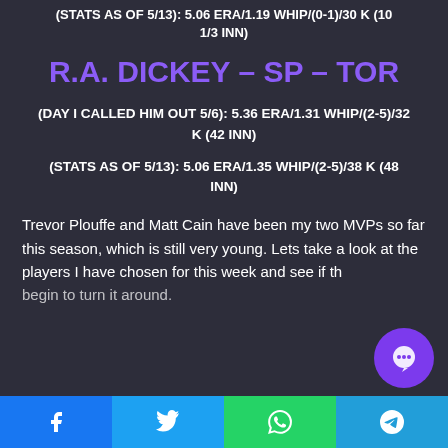(STATS AS OF 5/13): 5.06 ERA/1.19 WHIP/(0-1)/30 K (10 1/3 INN)
R.A. DICKEY – SP – TOR
(DAY I CALLED HIM OUT 5/6): 5.36 ERA/1.31 WHIP/(2-5)/32 K (42 INN)
(STATS AS OF 5/13): 5.06 ERA/1.35 WHIP/(2-5)/38 K (48 INN)
Trevor Plouffe and Matt Cain have been my two MVPs so far this season, which is still very young. Lets take a look at the players I have chosen for this week and see if they begin to turn it around.
Share buttons: Facebook, Twitter, WhatsApp, Telegram